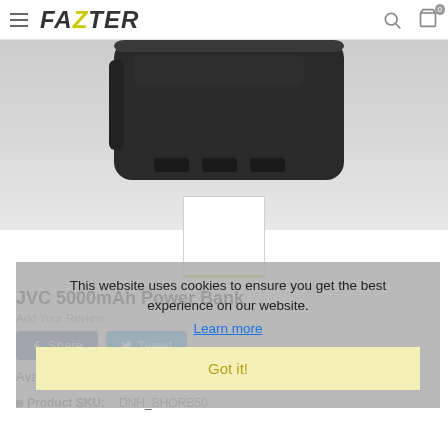FAZTER
[Figure (photo): JVC 5000mAh power bank product photo on grey background, showing a dark charcoal rectangular device with USB ports]
[Figure (photo): Thumbnail image placeholder with yellow bottom border, selected state]
This website uses cookies to ensure you get the best experience on our website.
Learn more
Got it!
JVC 5000mAh Power Bank
Add Your Review
Share
Tweet
Available: In Stock
Product SKU:   DNH_BHORB50